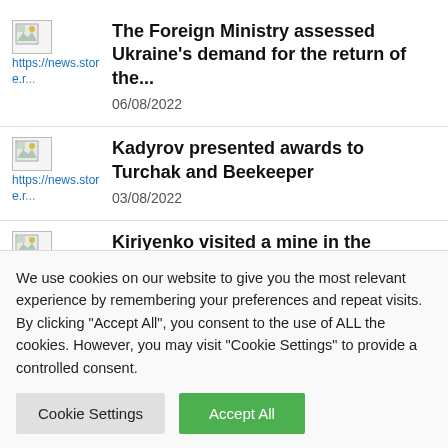The Foreign Ministry assessed Ukraine's demand for the return of the...
06/08/2022
Kadyrov presented awards to Turchak and Beekeeper
03/08/2022
Kiriyenko visited a mine in the DPR...
We use cookies on our website to give you the most relevant experience by remembering your preferences and repeat visits. By clicking "Accept All", you consent to the use of ALL the cookies. However, you may visit "Cookie Settings" to provide a controlled consent.